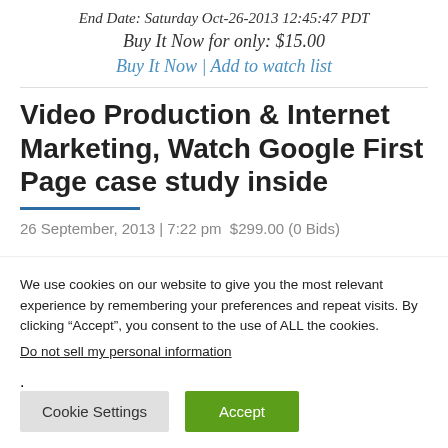End Date: Saturday Oct-26-2013 12:45:47 PDT
Buy It Now for only: $15.00
Buy It Now | Add to watch list
Video Production & Internet Marketing, Watch Google First Page case study inside
26 September, 2013 | 7:22 pm $299.00 (0 Bids)
We use cookies on our website to give you the most relevant experience by remembering your preferences and repeat visits. By clicking “Accept”, you consent to the use of ALL the cookies.
Do not sell my personal information.
Cookie Settings  Accept